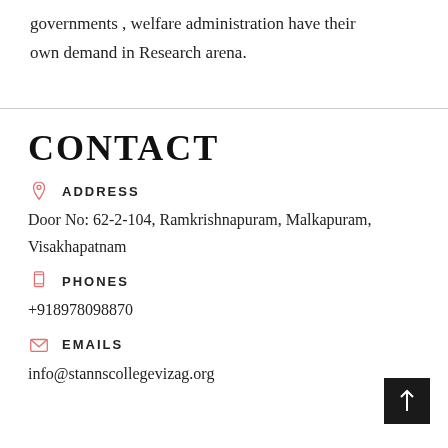governments , welfare administration have their own demand in Research arena.
CONTACT
ADDRESS
Door No: 62-2-104, Ramkrishnapuram, Malkapuram, Visakhapatnam
PHONES
+918978098870
EMAILS
info@stannscollegevizag.org